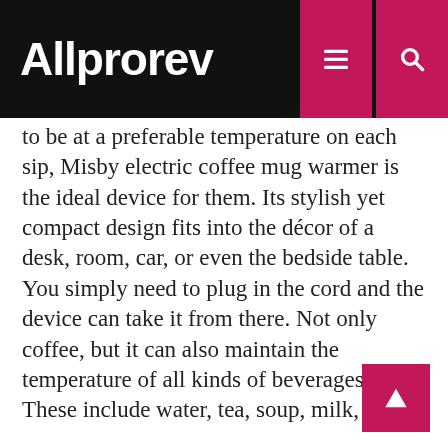Allprorev
to be at a preferable temperature on each sip, Misby electric coffee mug warmer is the ideal device for them. Its stylish yet compact design fits into the décor of a desk, room, car, or even the bedside table. You simply need to plug in the cord and the device can take it from there. Not only coffee, but it can also maintain the temperature of all kinds of beverages. These include water, tea, soup, milk, etc.
A thin-walled mug would be ideal for the device although it can accommodate all kinds of mugs. There are no buttons or controls on the warmer. Simply put the mug on the circular area and the device will automatically switch one.
Key Features: